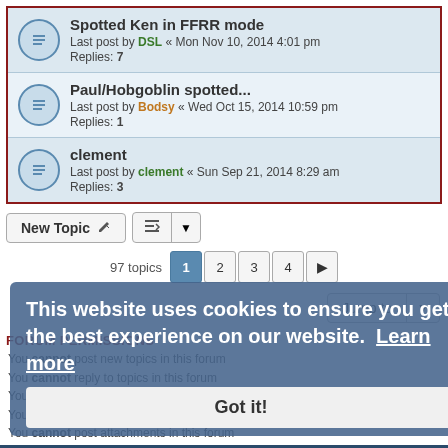Spotted Ken in FFRR mode — Last post by DSL « Mon Nov 10, 2014 4:01 pm — Replies: 7
Paul/Hobgoblin spotted... — Last post by Bodsy « Wed Oct 15, 2014 10:59 pm — Replies: 1
clement — Last post by clement « Sun Sep 21, 2014 8:29 am — Replies: 3
New Topic | Sort | 97 topics | Pages: 1 2 3 4 > | Jump to
FORUM PERMISSIONS
You cannot post new topics in this forum
You cannot reply to topics in this forum
You cannot edit your posts in this forum
You cannot delete your posts in this forum
You cannot post attachments in this forum
Website • Disco3Club Forums | The team
This website uses cookies to ensure you get the best experience on our website. Learn more
Got it!